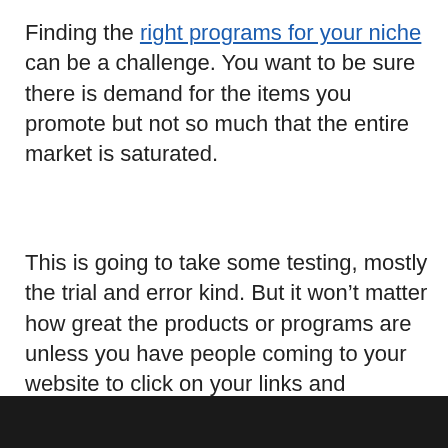Finding the right programs for your niche can be a challenge. You want to be sure there is demand for the items you promote but not so much that the entire market is saturated.
This is going to take some testing, mostly the trial and error kind. But it won't matter how great the products or programs are unless you have people coming to your website to click on your links and purchase these items or services.